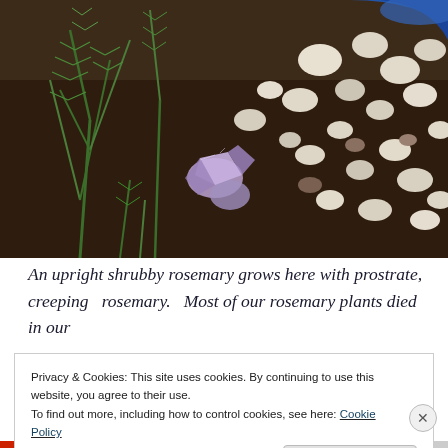[Figure (photo): Close-up photo of a rosemary plant growing in a pot with soil and white pebbles/gravel. A small purple amethyst crystal is visible among the rosemary stems. The pot has a blue rim visible at the top right.]
An upright shrubby rosemary grows here with prostrate, creeping  rosemary.  Most of our rosemary plants died in our
Privacy & Cookies: This site uses cookies. By continuing to use this website, you agree to their use.
To find out more, including how to control cookies, see here: Cookie Policy